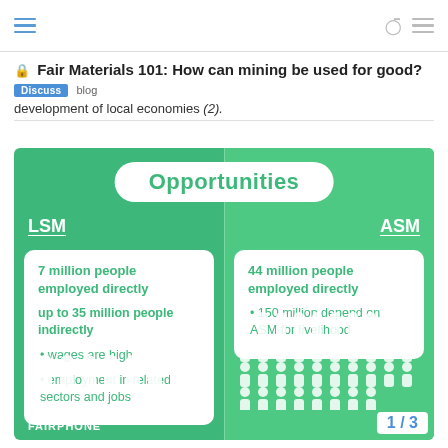navigation bar with hamburger, search, and menu icons
Fair Materials 101: How can mining be used for good?
Discuss  blog
development of local economies (2).
[Figure (infographic): Opportunities infographic comparing LSM (Large Scale Mining) and ASM (Artisanal and Small-scale Mining). LSM: 7 million people employed directly, up to 35 million people indirectly, wages are high, employment in related sectors and jobs. ASM: 44 million people employed directly, 150 million depend on ASM for livelihood. People icons shown below each column. Fairphone branding at bottom left. Page counter 1/3 at bottom right.]